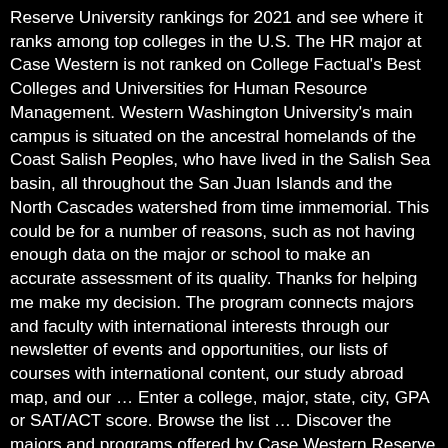Reserve University rankings for 2021 and see where it ranks among top colleges in the U.S. The HR major at Case Western is not ranked on College Factual's Best Colleges and Universities for Human Resource Management. Western Washington University's main campus is situated on the ancestral homelands of the Coast Salish Peoples, who have lived in the Salish Sea basin, all throughout the San Juan Islands and the North Cascades watershed from time immemorial. This could be for a number of reasons, such as not having enough data on the major or school to make an accurate assessment of its quality. Thanks for helping me make my decision. The program connects majors and faculty with international interests through our newsletter of events and opportunities, our lists of courses with international content, our study abroad map, and our … Enter a college, major, state, city, GPA or SAT/ACT score. Browse the list … Discover the majors and programs offered by Case Western Reserve University and the types of degrees awarded. Weatherhead's undergraduate minor program allows students to broaden their management studies to complement any undergraduate majors Undergraduate Minors | Weatherhead School at Case Western Reserve University Many transfer and dual degree students are ready to declare majors within the first semester of enrollment at Case Western Reserve University. From robotics and manufacturing to medical devices, space technology and energy, you can apply these degrees to industries that advance the world. Top Ranked Majors.